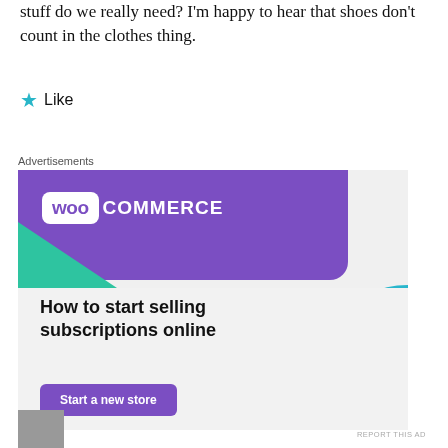stuff do we really need? I'm happy to hear that shoes don't count in the clothes thing.
★ Like
Advertisements
[Figure (illustration): WooCommerce advertisement banner. Purple header with WooCommerce logo (white badge with 'woo' in purple and 'COMMERCE' in white). Green triangle shape on left. Text reads 'How to start selling subscriptions online' with a purple 'Start a new store' button. Blue quarter-circle shape on bottom right. Light grey background.]
REPORT THIS AD